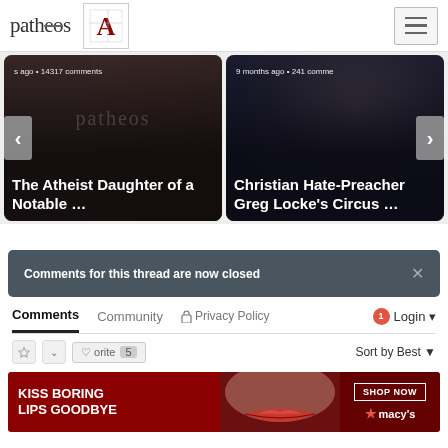patheos | A (logo)
[Figure (screenshot): Carousel card left: 'The Atheist Daughter of a Notable ...' with timestamp 's ago • 14317 comments' and patheos watermark on dark background]
[Figure (screenshot): Carousel card right: 'Christian Hate-Preacher Greg Locke's Circus ...' with timestamp '9 months ago • 241 comme' on dark background with man's face]
Comments for this thread are now closed
Comments   Community   🔒 Privacy Policy   🔔1   Login ▾
♡ ∨   Favorite  5   Sort by Best ▾
[Figure (screenshot): Macy's advertisement: 'KISS BORING LIPS GOODBYE' with lipstick model and 'SHOP NOW ★ macy's' on dark red background]